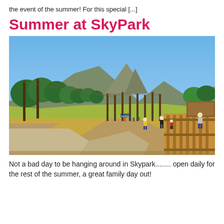the event of the summer! For this special [...]
Summer at SkyPark
[Figure (photo): Outdoor adventure park on a sunny summer day. People walking along a gravel path, wooden poles with ropes and climbing structures, green grass and trees, a mountain peak in the background under a clear blue sky. Wooden fence/platform visible on the right side with visitors.]
Not a bad day to be hanging around in Skypark........ open daily for the rest of the summer, a great family day out!